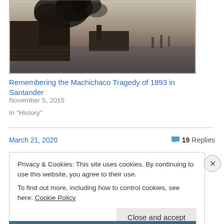[Figure (photo): Black and white historical photograph of a ship fire with dark smoke rising over water, with other vessels visible in the background. Waterfront scene.]
Remembering the Machichaco Tragedy of 1893 in Santander
November 5, 2015
In "History"
March 21, 2020
19 Replies
Privacy & Cookies: This site uses cookies. By continuing to use this website, you agree to their use.
To find out more, including how to control cookies, see here: Cookie Policy
Close and accept